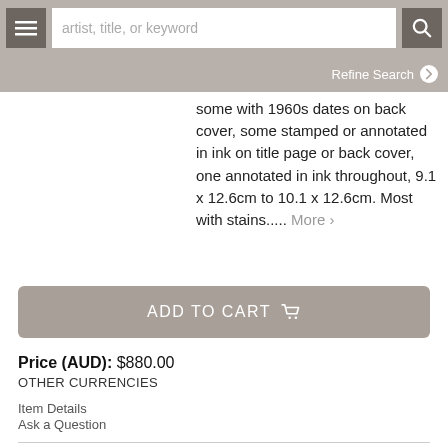artist, title, or keyword | Refine Search
some with 1960s dates on back cover, some stamped or annotated in ink on title page or back cover, one annotated in ink throughout, 9.1 x 12.6cm to 10.1 x 12.6cm. Most with stains..... More
ADD TO CART
Price (AUD): $880.00
OTHER CURRENCIES
Item Details
Ask a Question
“Oz” Magazine